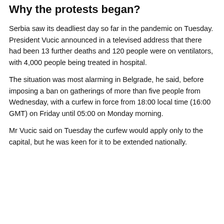Why the protests began?
Serbia saw its deadliest day so far in the pandemic on Tuesday. President Vucic announced in a televised address that there had been 13 further deaths and 120 people were on ventilators, with 4,000 people being treated in hospital.
The situation was most alarming in Belgrade, he said, before imposing a ban on gatherings of more than five people from Wednesday, with a curfew in force from 18:00 local time (16:00 GMT) on Friday until 05:00 on Monday morning.
Mr Vucic said on Tuesday the curfew would apply only to the capital, but he was keen for it to be extended nationally.